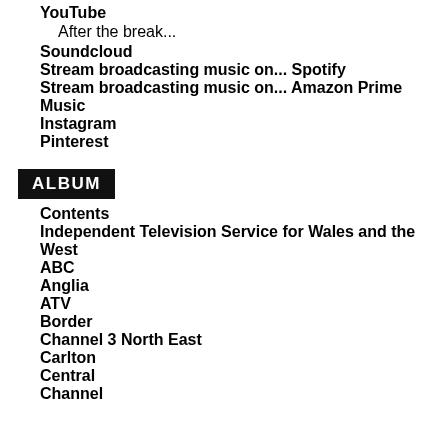YouTube
After the break...
Soundcloud
Stream broadcasting music on... Spotify
Stream broadcasting music on... Amazon Prime Music
Instagram
Pinterest
ALBUM
Contents
Independent Television Service for Wales and the West
ABC
Anglia
ATV
Border
Channel 3 North East
Carlton
Central
Channel